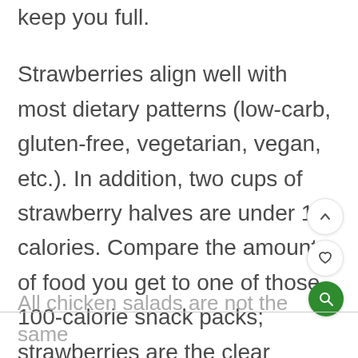keep you full. Strawberries align well with most dietary patterns (low-carb, gluten-free, vegetarian, vegan, etc.). In addition, two cups of strawberry halves are under 100 calories. Compare the amount of food you get to one of those 100-calorie snack packs; strawberries are the clear winner for fat loss!
All chicken salads are not the same